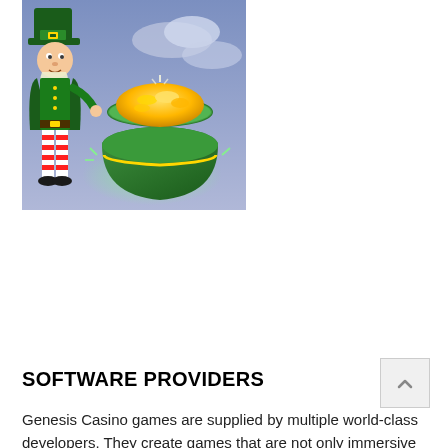[Figure (illustration): A leprechaun character in green outfit with striped stockings standing next to a large green pot overflowing with gold coins, against a purple-blue sky background. Casino/slot game artwork.]
SOFTWARE PROVIDERS
Genesis Casino games are supplied by multiple world-class developers. They create games that are not only immersive